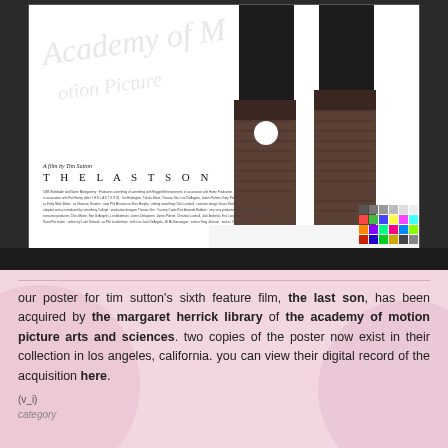[Figure (photo): Movie poster for 'THE LAST SON', a film by Tim Sutton. Shows legs in dark clothing and tall boots standing in snow. The Academy of Motion Picture Arts and Sciences watermark is overlaid diagonally. A color calibration chart is visible in the bottom right corner.]
our poster for tim sutton's sixth feature film, the last son, has been acquired by the margaret herrick library of the academy of motion picture arts and sciences. two copies of the poster now exist in their collection in los angeles, california. you can view their digital record of the acquisition here.
(v_i)
category